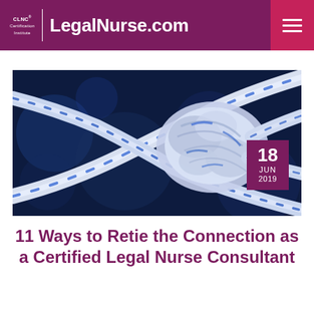CLNC® Certification Institute | LegalNurse.com
[Figure (photo): Close-up photo of a white and blue knotted rope against a dark blue bokeh background, with a dark maroon date badge showing 18 JUN 2019 in the upper right corner of the image.]
11 Ways to Retie the Connection as a Certified Legal Nurse Consultant